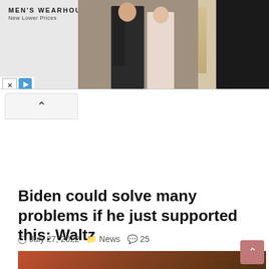[Figure (screenshot): Men's Wearhouse advertisement banner showing a couple in formal wear and a person in a tan suit, with 'New Lower Prices' tagline]
Biden could solve many problems if he just supported this: Waltz
July 27, 2022  News  25
[Figure (photo): Outdoor construction/excavation site with red/brown soil and rebar visible]